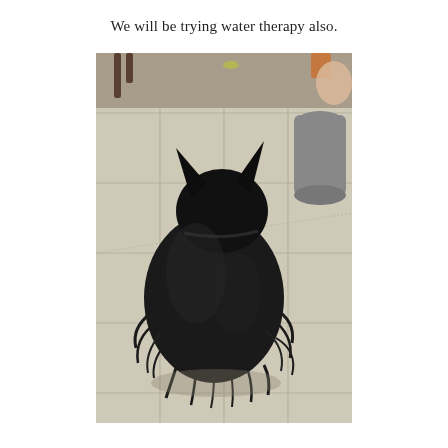We will be trying water therapy also.
[Figure (photo): A black Scottish Terrier dog sitting on a beige tile floor, viewed from behind and slightly to the side. The dog has pointed ears and long, shaggy black fur. In the background there is a grey cylindrical object on the right side and a doorway or room beyond.]